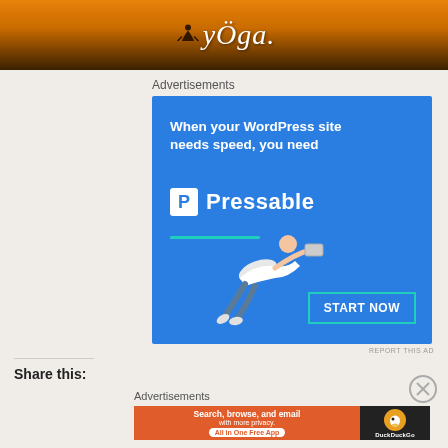[Figure (photo): Yoga website banner with orange sunset background, silhouette of meditating person, and yoga logo text]
Advertisements
[Figure (screenshot): Blue Pressable hosting advertisement: 'When your WordPress site needs speed, you need Pressable' with START NOW button and flying person illustration]
REPORT THIS AD
Share this:
Advertisements
[Figure (screenshot): DuckDuckGo advertisement: 'Search, browse, and email with more privacy. All in One Free App' on orange background with DuckDuckGo logo on dark right panel]
REPORT THIS AD